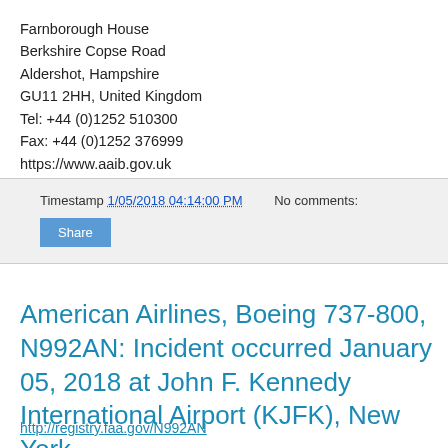Farnborough House
Berkshire Copse Road
Aldershot, Hampshire
GU11 2HH, United Kingdom
Tel: +44 (0)1252 510300
Fax: +44 (0)1252 376999
https://www.aaib.gov.uk
Timestamp 1/05/2018 04:14:00 PM   No comments:
Share
American Airlines, Boeing 737-800, N992AN: Incident occurred January 05, 2018 at John F. Kennedy International Airport (KJFK), New York
http://registry.faa.gov/N992AN